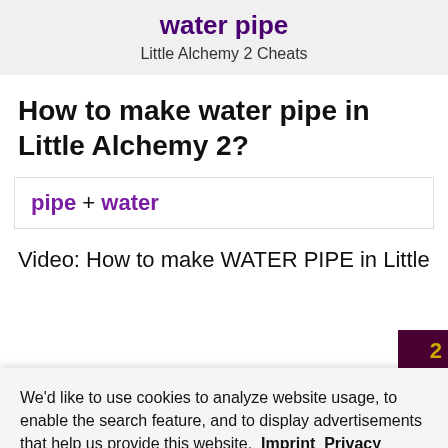water pipe
Little Alchemy 2 Cheats
How to make water pipe in Little Alchemy 2?
pipe + water
Video: How to make WATER PIPE in Little
We'd like to use cookies to analyze website usage, to enable the search feature, and to display advertisements that help us provide this website. Imprint Privacy Policy
Only technically necessary cookies
Accept all